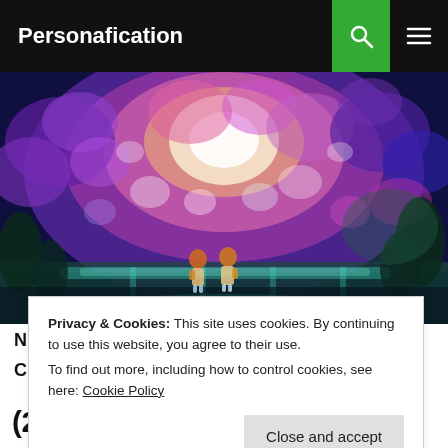Personafication
[Figure (illustration): Anime-style scene showing two child characters standing on a bridge, surrounded by a large, colorful, dreamlike explosion of glowing orbs in purple, pink, red, orange, yellow, white, and teal. Background includes dark trees and a glowing bridge.]
Privacy & Cookies: This site uses cookies. By continuing to use this website, you agree to their use.
To find out more, including how to control cookies, see here: Cookie Policy
(2012) MOVIE REVIEW